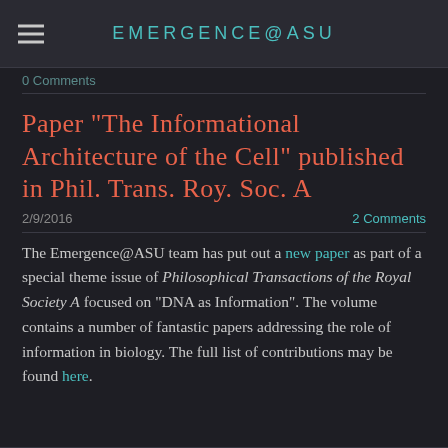EMERGENCE@ASU
0 Comments
Paper "The Informational Architecture of the Cell" published in Phil. Trans. Roy. Soc. A
2/9/2016
2 Comments
The Emergence@ASU team has put out a new paper as part of a special theme issue of Philosophical Transactions of the Royal Society A focused on "DNA as Information". The volume contains a number of fantastic papers addressing the role of information in biology. The full list of contributions may be found here.